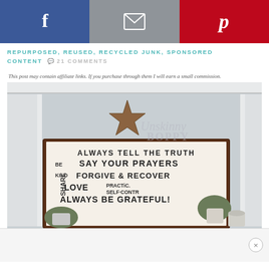[Figure (other): Social sharing bar with Facebook (blue), Email (gray), Pinterest (red) buttons with icons]
REPURPOSED, REUSED, RECYCLED JUNK, SPONSORED CONTENT  🗨 21 COMMENTS
This post may contain affiliate links. If you purchase through them I will earn a small commission.
[Figure (photo): Interior room photo showing a large framed farmhouse-style word sign with phrases: ALWAYS TELL THE TRUTH, SAY YOUR PRAYERS, BE KIND, FORGIVE & RECOVER, LOVE, PRACTICE SELF-CONTROL, ALWAYS BE GRATEFUL. A rustic wooden star decoration sits above the sign. Small potted green plants on either side. Watermark reads Unskinny Boppy.]
[Figure (other): Ad bar at bottom with close button (X)]